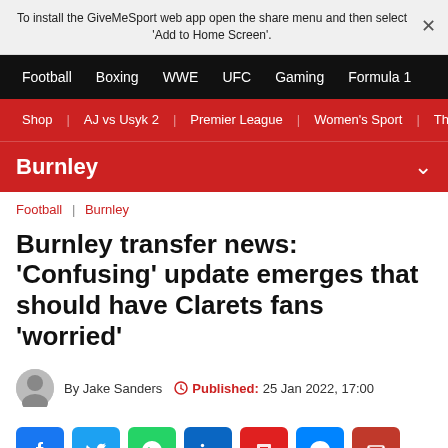To install the GiveMeSport web app open the share menu and then select 'Add to Home Screen'.
Football | Boxing | WWE | UFC | Gaming | Formula 1
Shop | AJ vs Usyk 2 | Premier League | Women's Sport | Th
Burnley
Football | Burnley
Burnley transfer news: 'Confusing' update emerges that should have Clarets fans 'worried'
By Jake Sanders  Published: 25 Jan 2022, 17:00
[Figure (other): Social sharing buttons: Facebook, Twitter, WhatsApp, LinkedIn, Flipboard, Messenger, Email]